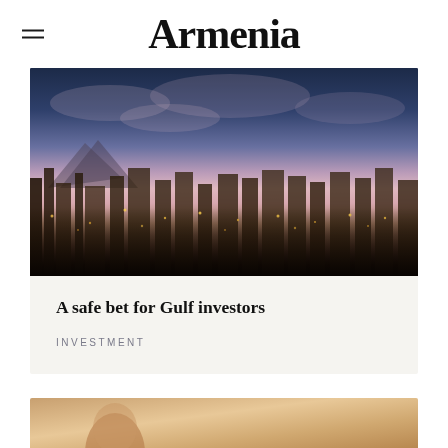Armenia
[Figure (photo): Aerial cityscape of Yerevan, Armenia at dusk with dramatic pink and purple sky, city lights, and Mount Ararat visible in the background]
A safe bet for Gulf investors
INVESTMENT
[Figure (photo): Partial view of a person, cropped at bottom of page]